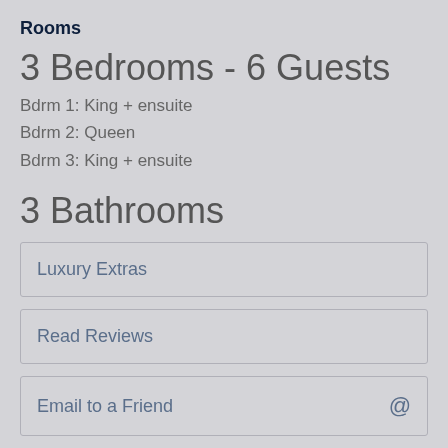Rooms
3 Bedrooms - 6 Guests
Bdrm 1: King + ensuite
Bdrm 2: Queen
Bdrm 3: King + ensuite
3 Bathrooms
Luxury Extras
Read Reviews
Email to a Friend
Save to Favourites